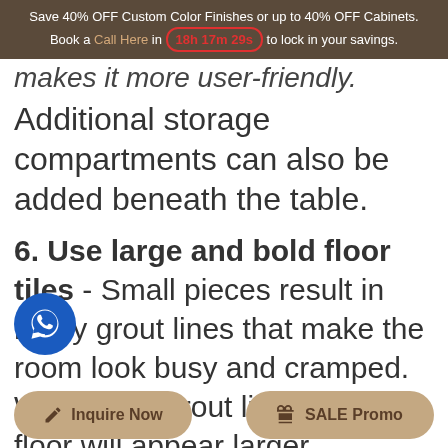Save 40% OFF Custom Color Finishes or up to 40% OFF Cabinets. Book a Call Here in 18h 17m 29s to lock in your savings.
makes it more user-friendly.
Additional storage compartments can also be added beneath the table.
6. Use large and bold floor tiles - Small pieces result in many grout lines that make the room look busy and cramped. With fewer grout lines, your floor will appear larger. Choosing a color for the floor and large floor tiles will help you to create a flowing floor design for your small...